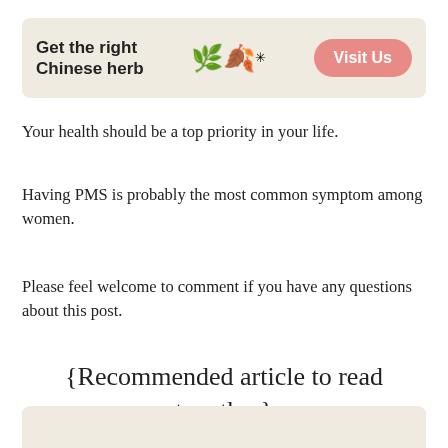[Figure (other): Advertisement banner for Chinese herbs with herb icons and 'Visit Us' button. Text reads 'Get the right Chinese herb']
Your health should be a top priority in your life.
Having PMS is probably the most common symptom among women.
Please feel welcome to comment if you have any questions about this post.
{Recommended article to read together}
[Figure (other): Partial bottom banner image, beige/tan background color, cropped at page bottom]